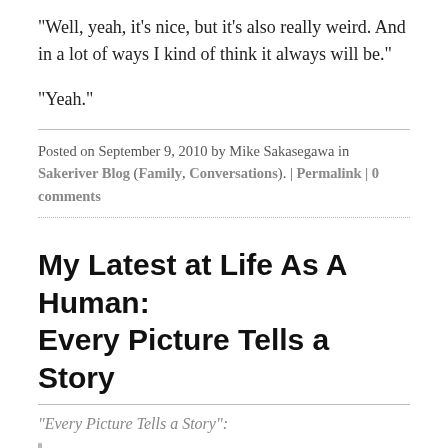"Well, yeah, it's nice, but it's also really weird. And in a lot of ways I kind of think it always will be."
"Yeah."
Posted on September 9, 2010 by Mike Sakasegawa in Sakeriver Blog (Family, Conversations). | Permalink | 0 comments
My Latest at Life As A Human: Every Picture Tells a Story
"Every Picture Tells a Story":
Over the past six months or so I've been reconnecting with my love of photography. It's been an exhilarating